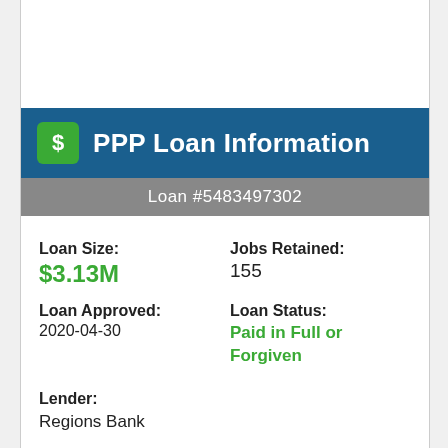PPP Loan Information
Loan #5483497302
Loan Size: $3.13M
Jobs Retained: 155
Loan Approved: 2020-04-30
Loan Status: Paid in Full or Forgiven
Lender: Regions Bank
Search Wizards, Inc in Sarasota, FL received a Paycheck Protection loan of $3.13M through Regions Bank